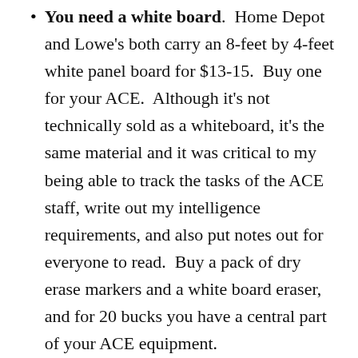You need a white board. Home Depot and Lowe's both carry an 8-feet by 4-feet white panel board for $13-15. Buy one for your ACE. Although it's not technically sold as a whiteboard, it's the same material and it was critical to my being able to track the tasks of the ACE staff, write out my intelligence requirements, and also put notes out for everyone to read. Buy a pack of dry erase markers and a white board eraser, and for 20 bucks you have a central part of your ACE equipment.
Overall, I think we did a very good job considering we had a group of volunteers who were largely inexperienced and had to learn 'on the job' while finding their niche in the larger